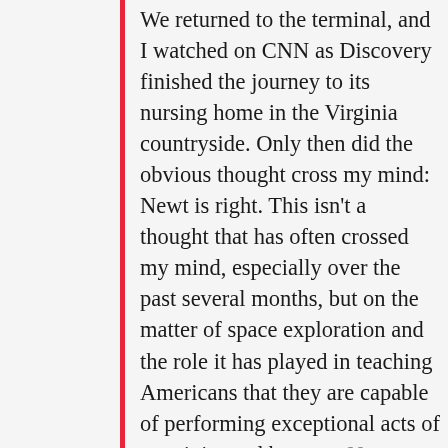We returned to the terminal, and I watched on CNN as Discovery finished the journey to its nursing home in the Virginia countryside. Only then did the obvious thought cross my mind: Newt is right. This isn't a thought that has often crossed my mind, especially over the past several months, but on the matter of space exploration and the role it has played in teaching Americans that they are capable of performing exceptional acts of creativity and bravery, Newt Gingrich is exactly right. So I called him and told him so. He is, from what I'm told, still busy running for president. But he seemed happy to talk about space and the terrible mistake the Obama administration made by canceling